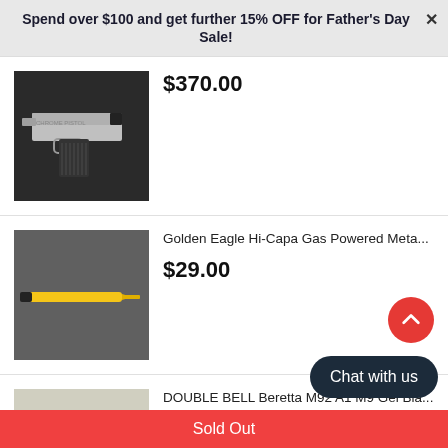Spend over $100 and get further 15% OFF for Father's Day Sale!
[Figure (photo): Silver/chrome semi-automatic pistol on dark background]
$370.00
[Figure (photo): Yellow pen/tool-like object on grey carpet background]
Golden Eagle Hi-Capa Gas Powered Meta...
$29.00
[Figure (photo): Black Beretta-style pistol on light background]
DOUBLE BELL Beretta M92 A1 M9 Gel Bla...
$299.00  $329.00
Sold Out